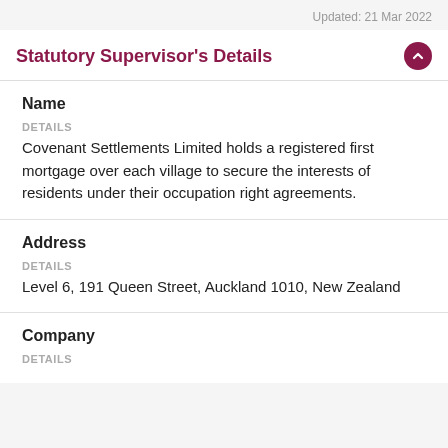Updated: 21 Mar 2022
Statutory Supervisor's Details
Name
DETAILS
Covenant Settlements Limited holds a registered first mortgage over each village to secure the interests of residents under their occupation right agreements.
Address
DETAILS
Level 6, 191 Queen Street, Auckland 1010, New Zealand
Company
DETAILS